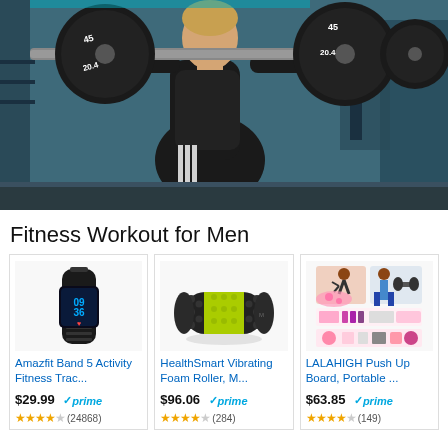[Figure (photo): Man performing barbell squat in gym, wearing black outfit, with heavy weights (20.4 labeled plates) on the bar]
Fitness Workout for Men
[Figure (photo): Amazfit Band 5 fitness tracker with black band and digital display showing 09:36]
Amazfit Band 5 Activity Fitness Trac...
$29.99 prime (24868 reviews, 4 stars)
[Figure (photo): HealthSmart Vibrating Foam Roller, black with yellow-green center section]
HealthSmart Vibrating Foam Roller, M...
$96.06 prime (284 reviews, 4 stars)
[Figure (photo): LALAHIGH Push Up Board pink portable fitness kit with resistance bands and accessories]
LALAHIGH Push Up Board, Portable ...
$63.85 prime (149 reviews, 4 stars)